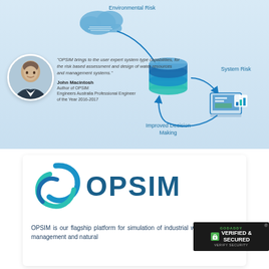[Figure (schematic): Diagram showing Environmental Risk (cloud icon) feeding via arrow into a layered data stack icon, which connects to System Risk (arrow right) leading to a laptop/computer icon, and Improved Decision Making (arrow up-left) completing the loop back to the data stack. Background is light blue gradient.]
"OPSIM brings to the user expert system type capabilities, for the risk based assessment and design of water resources and management systems."
John Macintosh
Author of OPSIM
Engineers Australia Professional Engineer of the Year 2016-2017
[Figure (logo): OPSIM logo: swirling blue teal circular emblem on the left, large blue text OPSIM on the right, on white background card.]
OPSIM is our flagship platform for simulation of industrial water management and natural
[Figure (other): GoDaddy Verified & Secured badge in dark background with green GODADDY text, lock icon, and VERIFY SECURITY text.]